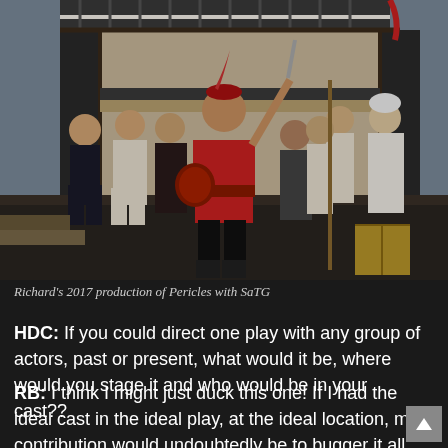[Figure (photo): Theater production photo showing actors in period costumes on an outdoor stage. A central actor dressed in red medieval costume holds a sword aloft. Other actors in white and dark costumes surround him. An old building with balcony is visible in the background.]
Richard's 2017 production of Pericles with SaTG
HDC: If you could direct one play with any group of actors, past or present, what would it be, where would you stage it and who would be in your cast??
RB: I think I might just duck this one! If I had the ideal cast in the ideal play, at the ideal location, my contribution would undoubtedly be to bugger it all up! My greatest